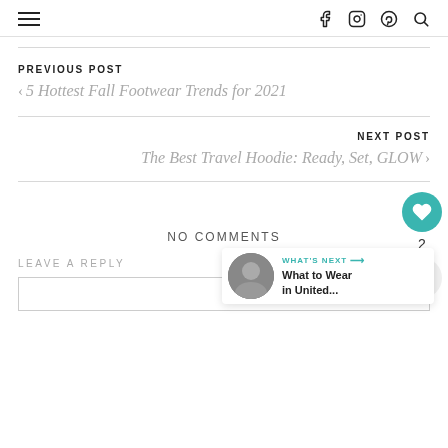≡  f  instagram  pinterest  search
PREVIOUS POST
< 5 Hottest Fall Footwear Trends for 2021
NEXT POST
The Best Travel Hoodie: Ready, Set, GLOW >
NO COMMENTS
LEAVE A REPLY